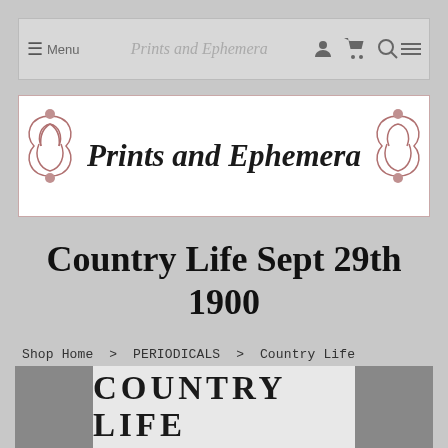Menu  Prints and Ephemera
[Figure (logo): Prints and Ephemera store logo banner with decorative scrollwork ornaments on each side and italic bold text reading 'Prints and Ephemera' in the center on a white background]
Country Life Sept 29th 1900
Shop Home > PERIODICALS > Country Life
[Figure (screenshot): Bottom portion of a Country Life magazine cover showing the masthead text 'COUNTRY LIFE' in large serif capital letters, with grey panels on each side]